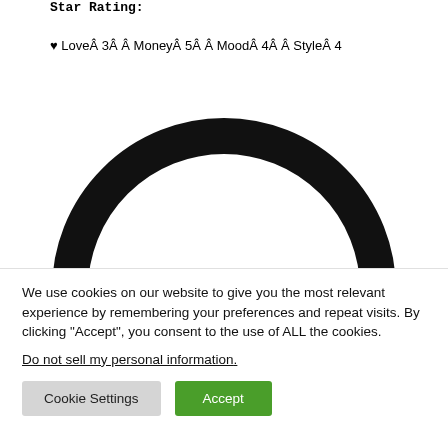Star Rating:
♥ LoveÂ 3Â Â MoneyÂ 5Â Â MoodÂ 4Â Â StyleÂ 4
[Figure (illustration): Partial black circle arc (top half of a ring/donut shape) visible at the bottom of the white area, cropped at the bottom edge.]
We use cookies on our website to give you the most relevant experience by remembering your preferences and repeat visits. By clicking "Accept", you consent to the use of ALL the cookies.
Do not sell my personal information.
Cookie Settings   Accept